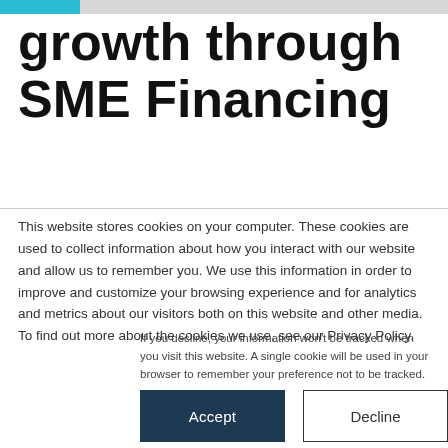growth through SME Financing
This website stores cookies on your computer. These cookies are used to collect information about how you interact with our website and allow us to remember you. We use this information in order to improve and customize your browsing experience and for analytics and metrics about our visitors both on this website and other media. To find out more about the cookies we use, see our Privacy Policy.
If you decline, your information won't be tracked when you visit this website. A single cookie will be used in your browser to remember your preference not to be tracked.
Accept   Decline